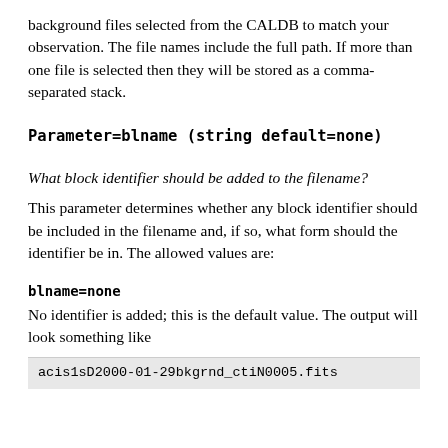background files selected from the CALDB to match your observation. The file names include the full path. If more than one file is selected then they will be stored as a comma-separated stack.
Parameter=blname (string default=none)
What block identifier should be added to the filename?
This parameter determines whether any block identifier should be included in the filename and, if so, what form should the identifier be in. The allowed values are:
blname=none
No identifier is added; this is the default value. The output will look something like
acis1sD2000-01-29bkgrnd_ctiN0005.fits